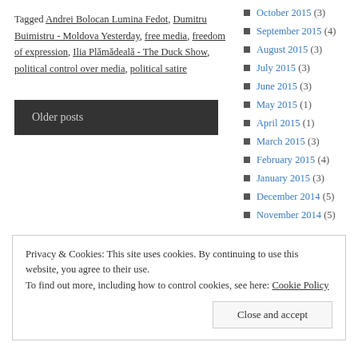Tagged Andrei Bolocan Lumina Fedot, Dumitru Buimistru - Moldova Yesterday, free media, freedom of expression, Ilia Plămădeală - The Duck Show, political control over media, political satire
Older posts
October 2015 (3)
September 2015 (4)
August 2015 (3)
July 2015 (3)
June 2015 (3)
May 2015 (1)
April 2015 (1)
March 2015 (3)
February 2015 (4)
January 2015 (3)
December 2014 (5)
November 2014 (5)
Privacy & Cookies: This site uses cookies. By continuing to use this website, you agree to their use. To find out more, including how to control cookies, see here: Cookie Policy
Close and accept